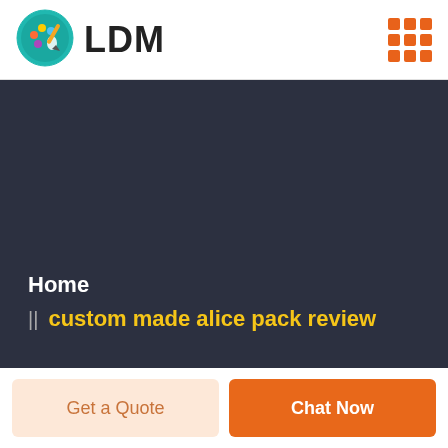LDM
[Figure (logo): LDM logo with circular palette and paintbrush icon, teal border]
Home
custom made alice pack review
Get a Quote
Chat Now